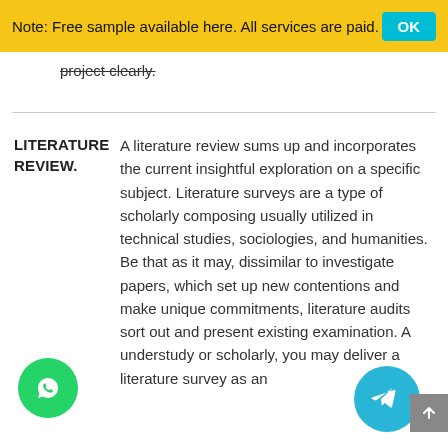Note: Free sample available here. All services are paid.
project clearly.
LITERATURE REVIEW.
A literature review sums up and incorporates the current insightful exploration on a specific subject. Literature surveys are a type of scholarly composing usually utilized in technical studies, sociologies, and humanities. Be that as it may, dissimilar to investigate papers, which set up new contentions and make unique commitments, literature audits sort out and present existing examination. A understudy or scholarly, you may deliver a literature survey as an